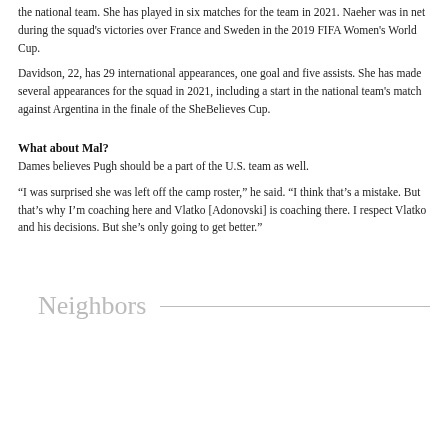the national team. She has played in six matches for the team in 2021. Naeher was in net during the squad's victories over France and Sweden in the 2019 FIFA Women's World Cup.
Davidson, 22, has 29 international appearances, one goal and five assists. She has made several appearances for the squad in 2021, including a start in the national team's match against Argentina in the finale of the SheBelieves Cup.
What about Mal?
Dames believes Pugh should be a part of the U.S. team as well.
“I was surprised she was left off the camp roster,” he said. “I think that’s a mistake. But that’s why I’m coaching here and Vlatko [Adonovski] is coaching there. I respect Vlatko and his decisions. But she’s only going to get better.”
Neighbors